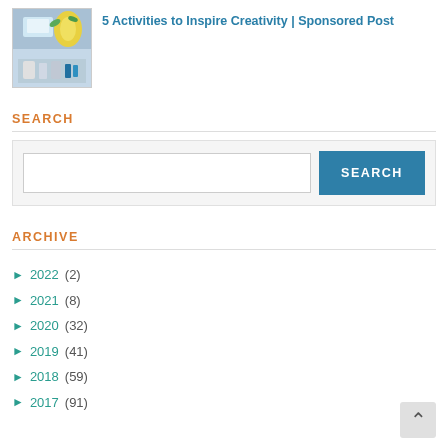[Figure (photo): Thumbnail image of art/craft supplies on a table with blue and yellow tones]
5 Activities to Inspire Creativity | Sponsored Post
SEARCH
[Figure (other): Search widget with text input box and SEARCH button]
ARCHIVE
► 2022 (2)
► 2021 (8)
► 2020 (32)
► 2019 (41)
► 2018 (59)
► 2017 (91)